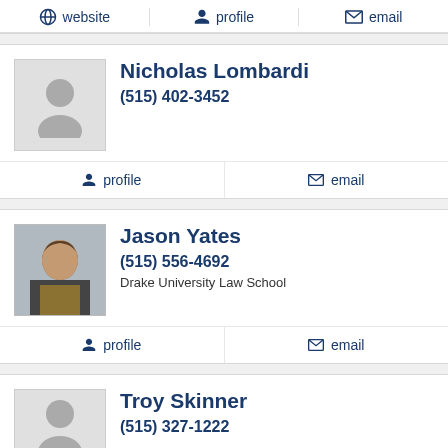website | profile | email
Nicholas Lombardi
(515) 402-3452
profile | email
Jason Yates
(515) 556-4692
Drake University Law School
profile | email
Troy Skinner
(515) 327-1222